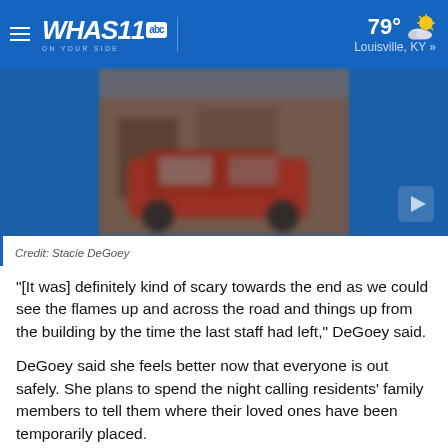WHAS11 abc ON YOUR SIDE — 79° Louisville, KY »
[Figure (photo): Blurred photograph of a red vehicle near a building, displayed on WHAS11 news website]
Credit: Stacie DeGoey
“[It was] definitely kind of scary towards the end as we could see the flames up and across the road and things up from the building by the time the last staff had left,” DeGoey said.
DeGoey said she feels better now that everyone is out safely. She plans to spend the night calling residents’ family members to tell them where their loved ones have been temporarily placed.